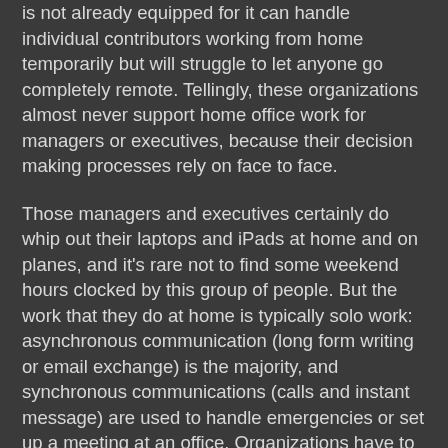is not already equipped for it can handle individual contributors working from home temporarily but will struggle to let anyone go completely remote. Tellingly, these organizations almost never support home office work for managers or executives, because their decision making processes rely on face to face.
Those managers and executives certainly do whip out their laptops and iPads at home and on planes, and it's rare not to find some weekend hours clocked by this group of people. But the work that they do at home is typically solo work: asynchronous communication (long form writing or email exchange) is the majority, and synchronous communications (calls and instant message) are used to handle emergencies or set up a meeting at an office. Organizations have to have processes to communicate information up and down, and to make decisions based on that information. If those processes are built around office meetings, they stop working properly when important team members aren't present, because remote meetings suck.
I think there's lot of remote-oriented folks posting about their